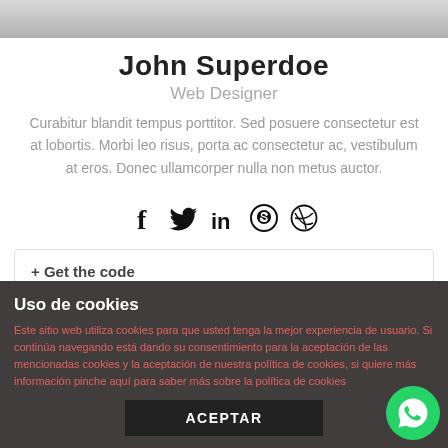[Figure (photo): Partial photo of a person in a white shirt, cropped at top of page]
John Superdoe
Web Designer
Curabitur blandit tempus porttitor. Sed posuere consectetur est at lobortis. Morbi leo risus, porta ac consectetur ac, vestibulum at eros. Donec ullamcorper nulla non metus auctor.
[Figure (illustration): Social media icons: Facebook, Twitter, LinkedIn, Skype, Dribbble]
+ Get the code
Uso de cookies
Este sitio web utiliza cookies para que usted tenga la mejor experiencia de usuario. Si continúa navegando está dando su consentimiento para la aceptación de las mencionadas cookies y la aceptación de nuestra política de cookies, si quiere más información pinche aquí para saber más sobre la política de cookies
ACEPTAR